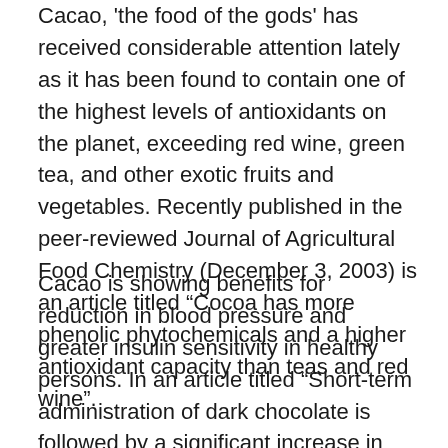Cacao, 'the food of the gods' has received considerable attention lately as it has been found to contain one of the highest levels of antioxidants on the planet, exceeding red wine, green tea, and other exotic fruits and vegetables. Recently published in the peer-reviewed Journal of Agricultural Food Chemistry (December 3, 2003) is an article titled “Cocoa has more phenolic phytochemicals and a higher antioxidant capacity than teas and red wine”.
Cacao is showing benefits for reduction in blood pressure and greater insulin sensitivity in healthy persons. In an article titled “Short-term administration of dark chocolate is followed by a significant increase in insulin sensitivity and a decrease in blood pressure in healthy persons” published in the American Journal of Clinical Nutrition, March 2005, insulin sensitivity was improved almost 12% in 15 test subjects given dark chocolate and systolic blood